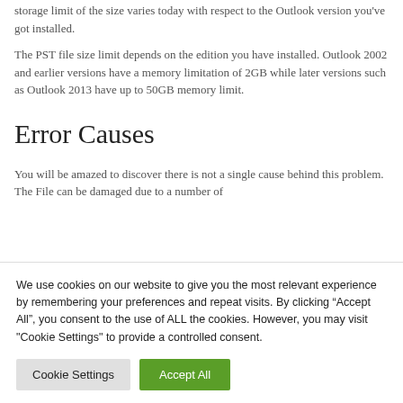storage limit of the size varies today with respect to the Outlook version you've got installed.
The PST file size limit depends on the edition you have installed. Outlook 2002 and earlier versions have a memory limitation of 2GB while later versions such as Outlook 2013 have up to 50GB memory limit.
Error Causes
You will be amazed to discover there is not a single cause behind this problem. The File can be damaged due to a number of
We use cookies on our website to give you the most relevant experience by remembering your preferences and repeat visits. By clicking “Accept All”, you consent to the use of ALL the cookies. However, you may visit "Cookie Settings" to provide a controlled consent.